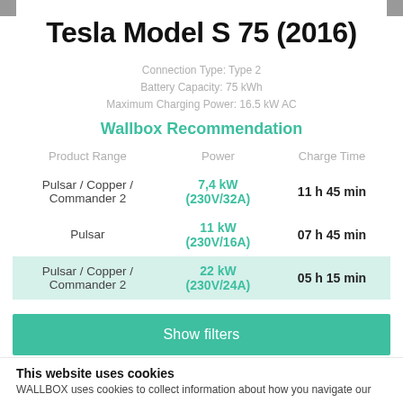Tesla Model S 75 (2016)
Connection Type: Type 2
Battery Capacity: 75 kWh
Maximum Charging Power: 16.5 kW AC
Wallbox Recommendation
| Product Range | Power | Charge Time |
| --- | --- | --- |
| Pulsar / Copper / Commander 2 | 7,4 kW (230V/32A) | 11 h 45 min |
| Pulsar | 11 kW (230V/16A) | 07 h 45 min |
| Pulsar / Copper / Commander 2 | 22 kW (230V/24A) | 05 h 15 min |
Show filters
This website uses cookies
WALLBOX uses cookies to collect information about how you navigate our